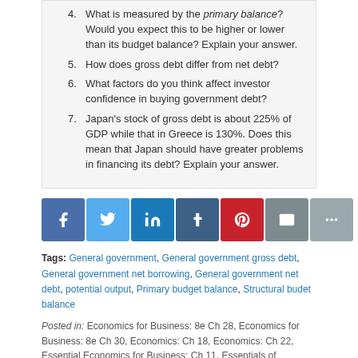4. What is measured by the primary balance? Would you expect this to be higher or lower than its budget balance? Explain your answer.
5. How does gross debt differ from net debt?
6. What factors do you think affect investor confidence in buying government debt?
7. Japan’s stock of gross debt is about 225% of GDP while that in Greece is 130%. Does this mean that Japan should have greater problems in financing its debt? Explain your answer.
[Figure (other): Social media sharing buttons: Facebook, Twitter, LinkedIn, Tumblr, Pinterest, Email, More]
Tags: General government, General government gross debt, General government net borrowing, General government net debt, potential output, Primary budget balance, Structural budet balance
Posted in: Economics for Business: 8e Ch 28, Economics for Business: 8e Ch 30, Economics: Ch 18, Economics: Ch 22, Essential Economics for Business: Ch 11, Essentials of Economics: 8e Ch 11, Essentials of Economics: 8e Ch 13
Authored by: Dean Garratt